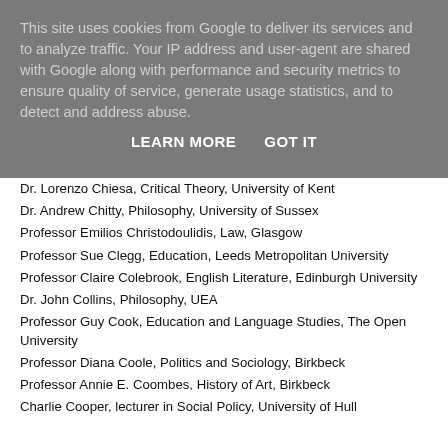This site uses cookies from Google to deliver its services and to analyze traffic. Your IP address and user-agent are shared with Google along with performance and security metrics to ensure quality of service, generate usage statistics, and to detect and address abuse.
LEARN MORE   GOT IT
Dr. Lorenzo Chiesa, Critical Theory, University of Kent
Dr. Andrew Chitty, Philosophy, University of Sussex
Professor Emilios Christodoulidis, Law, Glasgow
Professor Sue Clegg, Education, Leeds Metropolitan University
Professor Claire Colebrook, English Literature, Edinburgh University
Dr. John Collins, Philosophy, UEA
Professor Guy Cook, Education and Language Studies, The Open University
Professor Diana Coole, Politics and Sociology, Birkbeck
Professor Annie E. Coombes, History of Art, Birkbeck
Charlie Cooper, lecturer in Social Policy, University of Hull